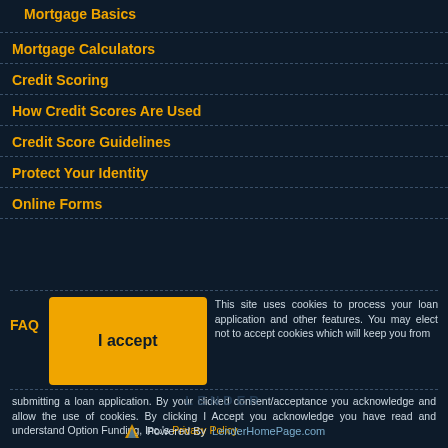Mortgage Basics
Mortgage Calculators
Credit Scoring
How Credit Scores Are Used
Credit Score Guidelines
Protect Your Identity
Online Forms
FAQ
I accept  This site uses cookies to process your loan application and other features. You may elect not to accept cookies which will keep you from submitting a loan application. By your clicked consent/acceptance you acknowledge and allow the use of cookies. By clicking I Accept you acknowledge you have read and understand Option Funding, Inc.'s Privacy Policy.
Powered By LenderHomePage.com